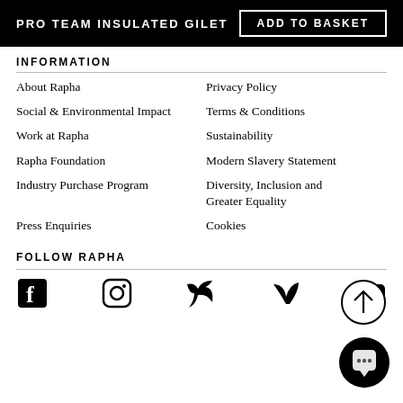PRO TEAM INSULATED GILET | ADD TO BASKET
INFORMATION
About Rapha
Privacy Policy
Social & Environmental Impact
Terms & Conditions
Work at Rapha
Sustainability
Rapha Foundation
Modern Slavery Statement
Industry Purchase Program
Diversity, Inclusion and Greater Equality
Press Enquiries
Cookies
FOLLOW RAPHA
[Figure (other): Social media icons row: Facebook, Instagram, Twitter, Vimeo, YouTube]